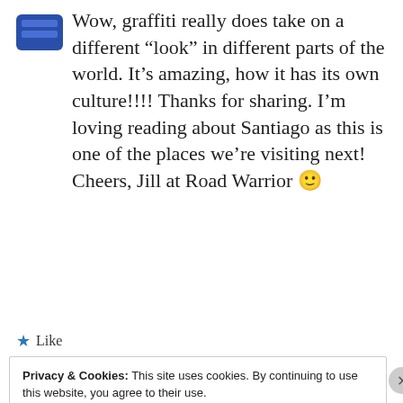[Figure (illustration): Partial view of a blue square avatar/logo at top left]
Wow, graffiti really does take on a different “look” in different parts of the world. It’s amazing, how it has its own culture!!!! Thanks for sharing. I’m loving reading about Santiago as this is one of the places we’re visiting next! Cheers, Jill at Road Warrior 🙂
★ Like
Privacy & Cookies: This site uses cookies. By continuing to use this website, you agree to their use.
To find out more, including how to control cookies, see here: Cookie Policy
Close and accept